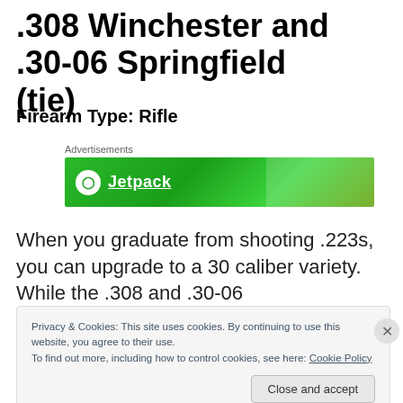.308 Winchester and .30-06 Springfield (tie)
Firearm Type: Rifle
[Figure (other): Jetpack advertisement banner with green gradient background and logo]
When you graduate from shooting .223s, you can upgrade to a 30 caliber variety. While the .308 and .30-06
Privacy & Cookies: This site uses cookies. By continuing to use this website, you agree to their use.
To find out more, including how to control cookies, see here: Cookie Policy
Close and accept